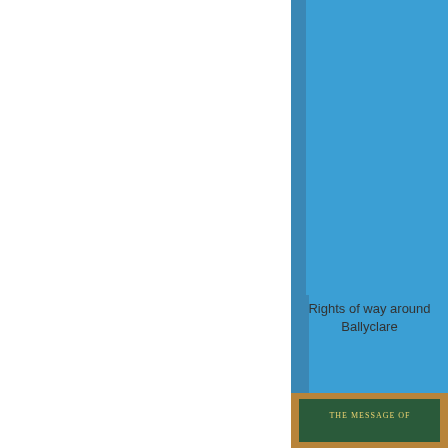[Figure (photo): A solid blue book cover shown from an angled perspective, with a darker blue spine visible on the left side. The cover is a plain medium-blue color with no text or imagery.]
Rights of way around Ballyclare
[Figure (photo): Partial view of a book cover with a wooden/tan border frame and a dark green center panel with gold/white text reading 'THE MESSAGE OF' and partially visible text below.]